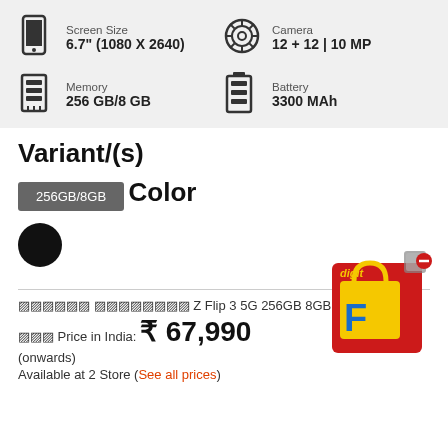Screen Size
6.7" (1080 X 2640)
Camera
12 + 12 | 10 MP
Memory
256 GB/8 GB
Battery
3300 MAh
Variant/(s)
256GB/8GB
Color
[Figure (other): Black color circle swatch]
[Figure (illustration): Digit/Flipkart shopping box with red cube icon]
Samsung Galaxy Z Flip 3 5G 256GB 8GB  Se...
Best Price in India: ₹ 67,990
(onwards)
Available at 2 Store (See all prices)